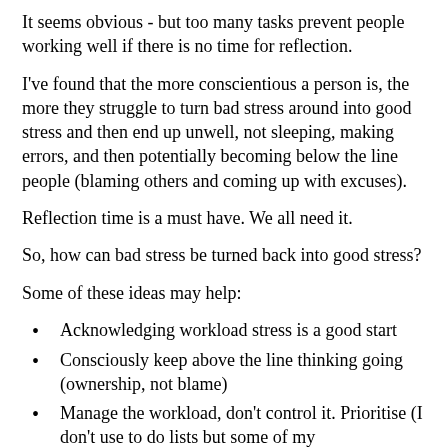It seems obvious - but too many tasks prevent people working well if there is no time for reflection.
I've found that the more conscientious a person is, the more they struggle to turn bad stress around into good stress and then end up unwell, not sleeping, making errors, and then potentially becoming below the line people (blaming others and coming up with excuses).
Reflection time is a must have. We all need it.
So, how can bad stress be turned back into good stress?
Some of these ideas may help:
Acknowledging workload stress is a good start
Consciously keep above the line thinking going (ownership, not blame)
Manage the workload, don't control it. Prioritise (I don't use to do lists but some of my